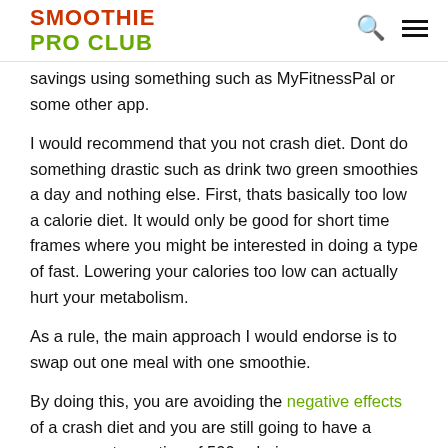SMOOTHIE PRO CLUB
savings using something such as MyFitnessPal or some other app.
I would recommend that you not crash diet. Dont do something drastic such as drink two green smoothies a day and nothing else. First, thats basically too low a calorie diet. It would only be good for short time frames where you might be interested in doing a type of fast. Lowering your calories too low can actually hurt your metabolism.
As a rule, the main approach I would endorse is to swap out one meal with one smoothie.
By doing this, you are avoiding the negative effects of a crash diet and you are still going to have a average net negative of 500 calories or so.